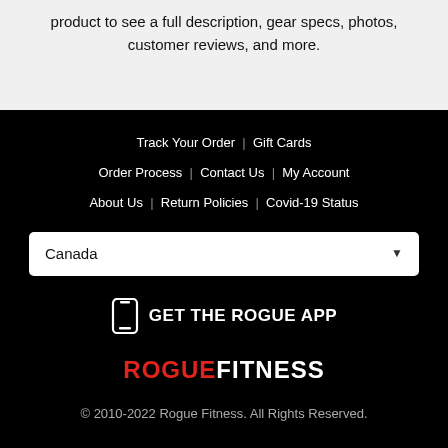product to see a full description, gear specs, photos, customer reviews, and more.
Track Your Order | Gift Cards
Order Process | Contact Us | My Account
About Us | Return Policies | Covid-19 Status
Canada
GET THE ROGUE APP
[Figure (logo): ROGUEFITNESS logo with ROGUE in red and FITNESS in white]
© 2010-2022 Rogue Fitness. All Rights Reserved.